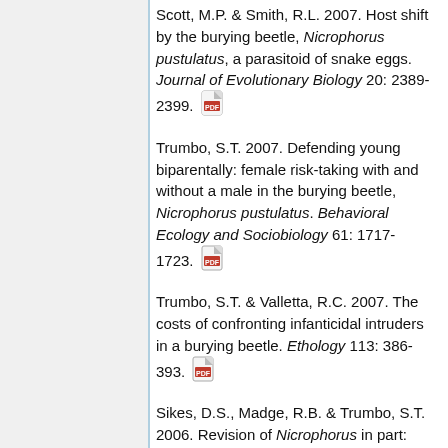Scott, M.P. & Smith, R.L. 2007. Host shift by the burying beetle, Nicrophorus pustulatus, a parasitoid of snake eggs. Journal of Evolutionary Biology 20: 2389-2399. [PDF]
Trumbo, S.T. 2007. Defending young biparentally: female risk-taking with and without a male in the burying beetle, Nicrophorus pustulatus. Behavioral Ecology and Sociobiology 61: 1717-1723. [PDF]
Trumbo, S.T. & Valletta, R.C. 2007. The costs of confronting infanticidal intruders in a burying beetle. Ethology 113: 386-393. [PDF]
Sikes, D.S., Madge, R.B. & Trumbo, S.T. 2006. Revision of Nicrophorus in part: new species and inferred phylogeny of the nepalensis-group based on evidence from morphology and mitochondrial DNA